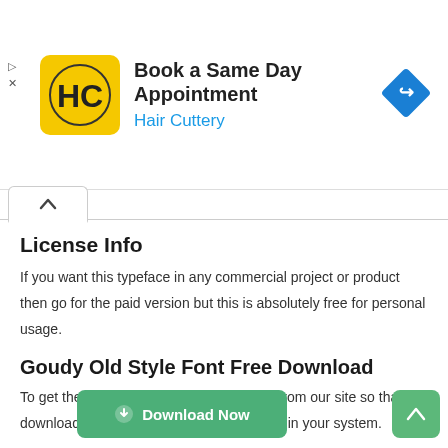[Figure (logo): Hair Cuttery advertisement banner with logo, 'Book a Same Day Appointment' text, and a navigation icon]
License Info
If you want this typeface in any commercial project or product then go for the paid version but this is absolutely free for personal usage.
Goudy Old Style Font Free Download
To get the unpaid version of this typeface from our site so that the download link is ready you will get this font in your system.